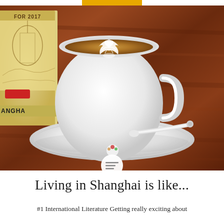[Figure (photo): A latte coffee with heart-shaped latte art in a white ceramic cup on a white saucer, placed on a wooden table next to a Shanghai travel guide book with 'FOR 2017' text visible on the cover.]
Living in Shanghai is like...
#1 International Literature Getting really exciting about